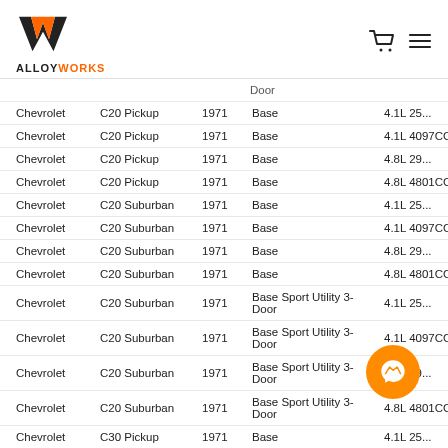ALLOYWORKS
| Make | Model | Year | Submodel | Engine |
| --- | --- | --- | --- | --- |
|  |  |  | Door |  |
| Chevrolet | C20 Pickup | 1971 | Base | 4.1L 25... |
| Chevrolet | C20 Pickup | 1971 | Base | 4.1L 4097CC 2... |
| Chevrolet | C20 Pickup | 1971 | Base | 4.8L 29... |
| Chevrolet | C20 Pickup | 1971 | Base | 4.8L 4801CC 2... |
| Chevrolet | C20 Suburban | 1971 | Base | 4.1L 25... |
| Chevrolet | C20 Suburban | 1971 | Base | 4.1L 4097CC 2... |
| Chevrolet | C20 Suburban | 1971 | Base | 4.8L 29... |
| Chevrolet | C20 Suburban | 1971 | Base | 4.8L 4801CC 2... |
| Chevrolet | C20 Suburban | 1971 | Base Sport Utility 3-Door | 4.1L 25... |
| Chevrolet | C20 Suburban | 1971 | Base Sport Utility 3-Door | 4.1L 4097CC 2... |
| Chevrolet | C20 Suburban | 1971 | Base Sport Utility 3-Door | 4.8L 29... |
| Chevrolet | C20 Suburban | 1971 | Base Sport Utility 3-Door | 4.8L 4801CC 2... |
| Chevrolet | C30 Pickup | 1971 | Base | 4.1L 25... |